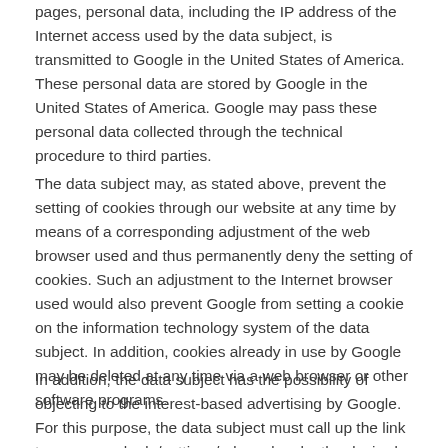pages, personal data, including the IP address of the Internet access used by the data subject, is transmitted to Google in the United States of America. These personal data are stored by Google in the United States of America. Google may pass these personal data collected through the technical procedure to third parties.
The data subject may, as stated above, prevent the setting of cookies through our website at any time by means of a corresponding adjustment of the web browser used and thus permanently deny the setting of cookies. Such an adjustment to the Internet browser used would also prevent Google from setting a cookie on the information technology system of the data subject. In addition, cookies already in use by Google may be deleted at any time via a web browser or other software programs.
In addition, the data subject has the possibility of objecting to the interest-based advertising by Google. For this purpose, the data subject must call up the link to www.google.de/settings/ads and make the desired settings on each Internet browser used by the